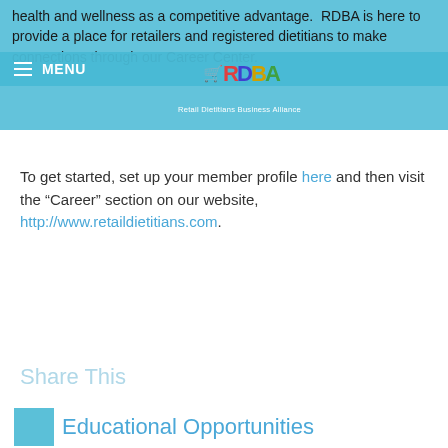health and wellness as a competitive advantage.  RDBA is here to provide a place for retailers and registered dietitians to make connections through our Career Center.
[Figure (logo): RDBA (Retail Dietitians Business Alliance) logo with colorful letters and shopping cart icon, white menu bar with hamburger icon and MENU text]
To get started, set up your member profile here and then visit the "Career" section on our website, http://www.retaildietitians.com.
Share This
Educational Opportunities